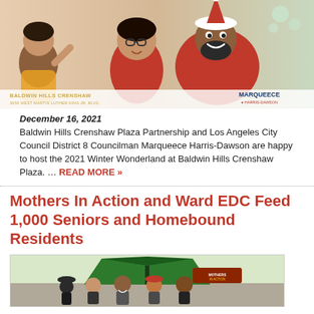[Figure (photo): Baldwin Hills Crenshaw Plaza holiday event promotional image featuring animated characters dressed in holiday attire, with text overlays showing Baldwin Hills Crenshaw address and Marqueece Harris-Dawson branding]
December 16, 2021
Baldwin Hills Crenshaw Plaza Partnership and Los Angeles City Council District 8 Councilman Marqueece Harris-Dawson are happy to host the 2021 Winter Wonderland at Baldwin Hills Crenshaw Plaza. … READ MORE »
Mothers In Action and Ward EDC Feed 1,000 Seniors and Homebound Residents
[Figure (photo): Photo of people standing outdoors under a green tent at a food distribution event for seniors and homebound residents]